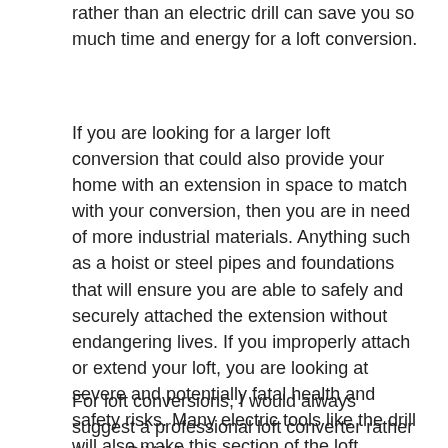rather than an electric drill can save you so much time and energy for a loft conversion.
If you are looking for a larger loft conversion that could also provide your home with an extension in space to match with your conversion, then you are in need of more industrial materials. Anything such as a hoist or steel pipes and foundations that will ensure you are able to safely and securely attached the extension without endangering lives. If you improperly attach or extend your loft, you are looking at severe and potentially fatal health and safety risks. Many electric tools like the drill will also make this section of the loft conversion easier for you. It’s much easier to be able to cut through the steel within the beams or the raw materials if you use electrical tools. Using hand tools can be much more difficult, and energy consuming if you are not used to it.
For loft conversions, I would always suggest a professional loft converter rather than a DIY loft